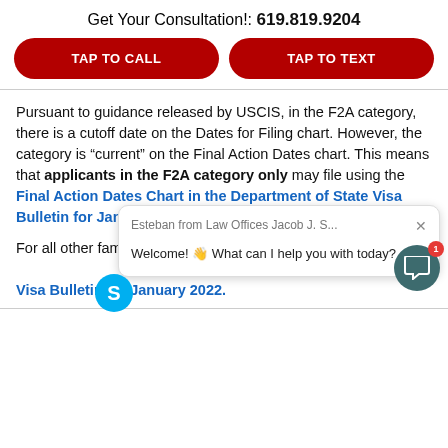Get Your Consultation!: 619.819.9204
TAP TO CALL
TAP TO TEXT
Pursuant to guidance released by USCIS, in the F2A category, there is a cutoff date on the Dates for Filing chart. However, the category is “current” on the Final Action Dates chart. This means that applicants in the F2A category only may file using the Final Action Dates Chart in the Department of State Visa Bulletin for January 2022.
For all other family-based preference categories, applicants must use the Dates for Filing Chart in the Department of State Visa Bulletin for January 2022.
[Figure (screenshot): Chat popup overlay from Esteban at Law Offices Jacob J. S... saying: Welcome! What can I help you with today?]
[Figure (logo): Skype icon (blue circle with white S)]
[Figure (infographic): Chat widget button (dark teal circle with white speech bubble icon) with red notification badge showing 1]